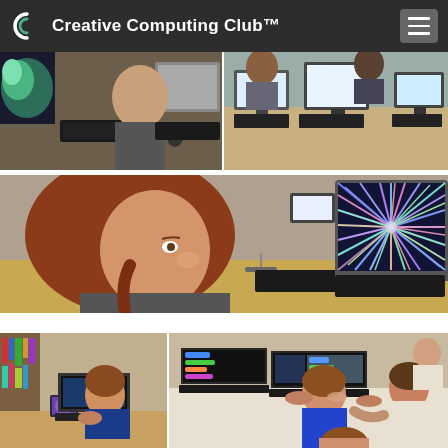Creative Computing Club™
[Figure (photo): Collage of children using computers and laptops in a computing club setting. Top row shows two photos of children working at desktop computers. Middle shows a close-up of a girl looking at a monitor displaying a colorful starburst pattern. Bottom row shows children using laptops, collaborating on coding activities.]